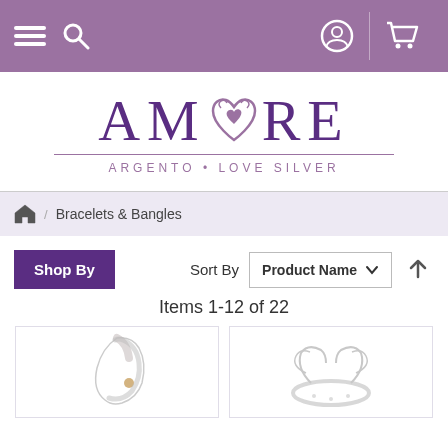Navigation bar with menu, search, user, and cart icons
[Figure (logo): Amore Argento Love Silver logo with stylized heart replacing the O in AMORE, purple text, tagline ARGENTO · LOVE SILVER]
Bracelets & Bangles
Shop By   Sort By   Product Name   Items 1-12 of 22
Items 1-12 of 22
[Figure (photo): Two product photos of silver bracelets/bangles]
[Figure (photo): Silver angel wing bangle bracelet]